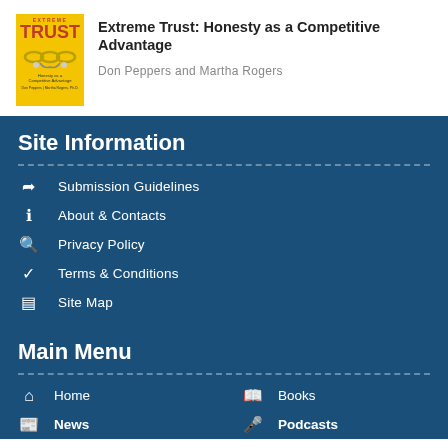[Figure (illustration): Book cover for 'Extreme Trust: Honesty as a Competitive Advantage' with yellow background, red TRUST text, chain and handshake graphic]
Extreme Trust: Honesty as a Competitive Advantage
Don Peppers and Martha Rogers
Site Information
Submission Guidelines
About & Contacts
Privacy Policy
Terms & Conditions
Site Map
Main Menu
Home
Books
News
Podcasts